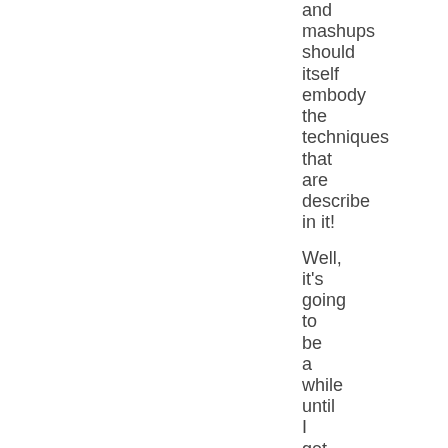and mashups should itself embody the techniques that are describe in it!

Well, it's going to be a while until I get there — but I...